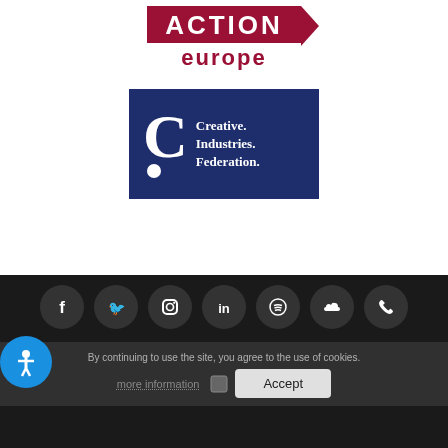[Figure (logo): Action Europe logo with red background and arrow, text ACTION europe in white/red]
[Figure (logo): Creative Industries Federation logo: dark blue background with large C, dot, and text Creative. Industries. Federation.]
[Figure (other): Footer with social media icons: Facebook, Twitter, Instagram, LinkedIn, Spotify, SoundCloud, Phone]
By continuing to use the site, you agree to the use of cookies.
more information
Accept
[Figure (other): Blue accessibility icon button with person figure]